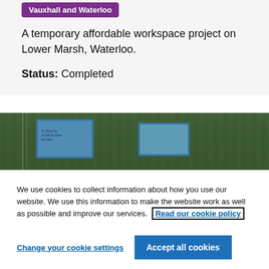Vauxhall and Waterloo
A temporary affordable workspace project on Lower Marsh, Waterloo.
Status: Completed
[Figure (photo): Photograph of signs with blue borders placed against a green leafy hedge background, appearing to be on a street in Waterloo.]
We use cookies to collect information about how you use our website. We use this information to make the website work as well as possible and improve our services. Read our cookie policy
Change your cookie settings
Accept all cookies